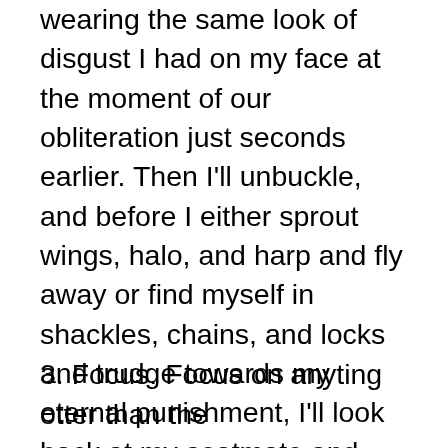wearing the same look of disgust I had on my face at the moment of our obliteration just seconds earlier. Then I'll unbuckle, and before I either sprout wings, halo, and harp and fly away or find myself in shackles, chains, and locks and trudge towards my eternal punishment, I'll look back at my seatmate and shake my head in mild disappointment at his or her lack of composure. The thought of my seatmate's utter bewilderment at my preternatural calm helps me focus on staying calm.
3. Focus. Focus on anyting otter than the